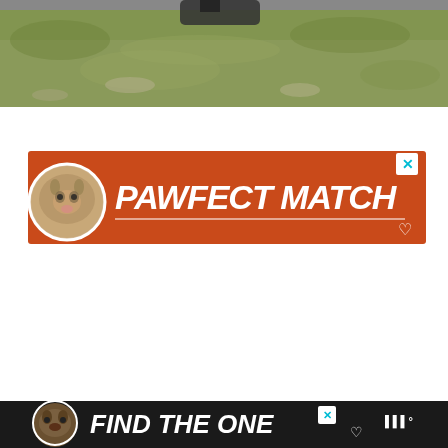[Figure (photo): Top portion of an outdoor photo showing grass and rocky ground, cropped at the bottom. Dark animal visible at top.]
[Figure (advertisement): Orange/red banner advertisement reading 'PAWFECT MATCH' with a cat photo on the left, a heart symbol on the right, and an X close button in the top-right corner.]
[Figure (advertisement): Dark banner advertisement at the bottom reading 'FIND THE ONE' with a dog photo on the left, a heart symbol, an X close button, and a logo on the right.]